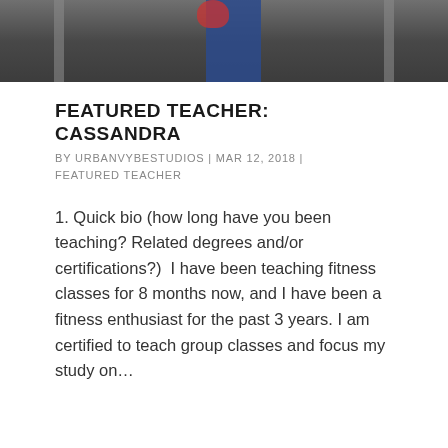[Figure (photo): Gym photo showing a person in blue pants on exercise equipment]
FEATURED TEACHER: CASSANDRA
BY URBANVYBESTUDIOS | MAR 12, 2018 | FEATURED TEACHER
1. Quick bio (how long have you been teaching? Related degrees and/or certifications?)  I have been teaching fitness classes for 8 months now, and I have been a fitness enthusiast for the past 3 years. I am certified to teach group classes and focus my study on...